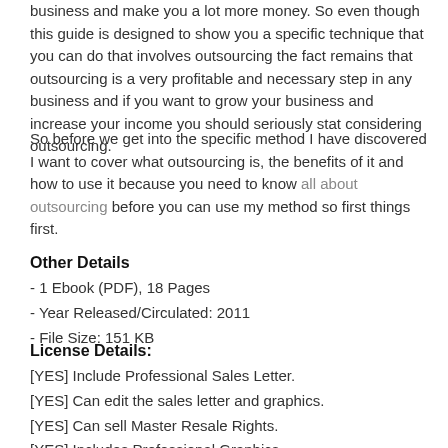business and make you a lot more money. So even though this guide is designed to show you a specific technique that you can do that involves outsourcing the fact remains that outsourcing is a very profitable and necessary step in any business and if you want to grow your business and increase your income you should seriously stat considering outsourcing.
So before we get into the specific method I have discovered I want to cover what outsourcing is, the benefits of it and how to use it because you need to know all about outsourcing before you can use my method so first things first.
Other Details
- 1 Ebook (PDF), 18 Pages
- Year Released/Circulated: 2011
- File Size: 151 KB
License Details:
[YES] Include Professional Sales Letter.
[YES] Can edit the sales letter and graphics.
[YES] Can sell Master Resale Rights.
[YES] Includes Professional Graphics.
[YES] Can Put Your Name As The Author.
[YES] Can Be Edited.